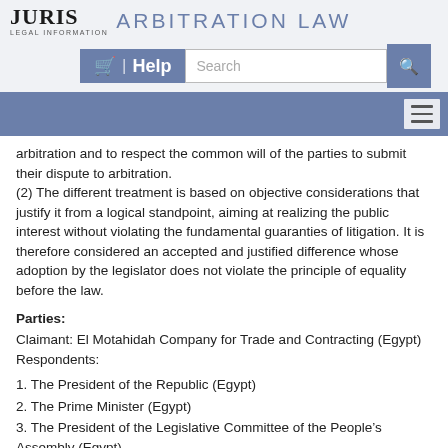JURIS LEGAL INFORMATION | ARBITRATION LAW
arbitration and to respect the common will of the parties to submit their dispute to arbitration.
(2) The different treatment is based on objective considerations that justify it from a logical standpoint, aiming at realizing the public interest without violating the fundamental guaranties of litigation. It is therefore considered an accepted and justified difference whose adoption by the legislator does not violate the principle of equality before the law.
Parties:
Claimant: El Motahidah Company for Trade and Contracting (Egypt) Respondents:
1. The President of the Republic (Egypt)
2. The Prime Minister (Egypt)
3. The President of the Legislative Committee of the People’s Assembly (Egypt)
4. Shell Company for Marketing